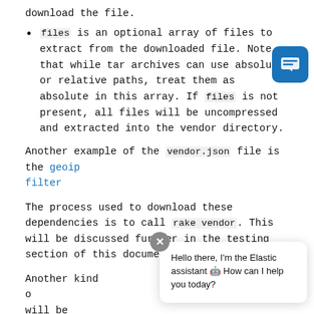download the file.
files is an optional array of files to extract from the downloaded file. Note that while tar archives can use absolute or relative paths, treat them as absolute in this array. If files is not present, all files will be uncompressed and extracted into the vendor directory.
Another example of the vendor.json file is the geoip filter
The process used to download these dependencies is to call rake vendor. This will be discussed further in the testing section of this document.
Another kind of ... files. This will be described ... ect
Hello there, I'm the Elastic assistant 🤖 How can I help you today?